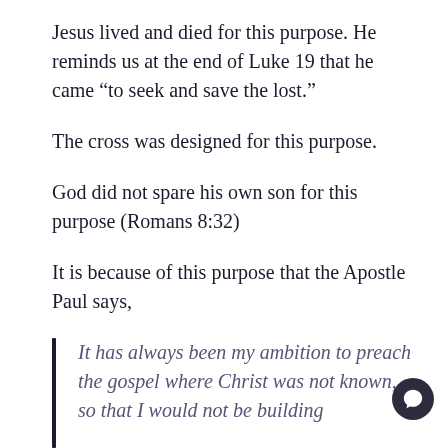Jesus lived and died for this purpose. He reminds us at the end of Luke 19 that he came “to seek and save the lost.”
The cross was designed for this purpose.
God did not spare his own son for this purpose (Romans 8:32)
It is because of this purpose that the Apostle Paul says,
It has always been my ambition to preach the gospel where Christ was not known, so that I would not be building